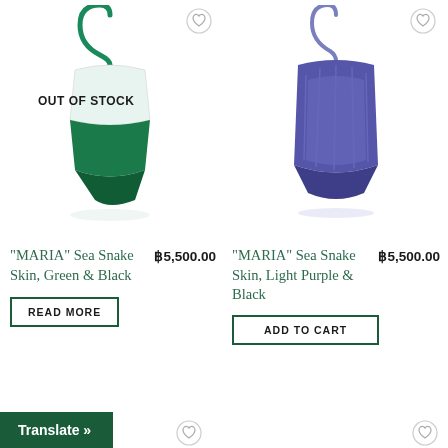[Figure (photo): Green and white sea snake skin bag 'MARIA' with green loop handle, out of stock label overlay, white background]
[Figure (photo): Light purple and black sea snake skin bag 'MARIA' with purple loop handle, white background]
OUT OF STOCK
“MARIA” Sea Snake Skin, Green & Black
₿5,500.00
“MARIA” Sea Snake Skin, Light Purple & Black
₿5,500.00
READ MORE
ADD TO CART
Translate »